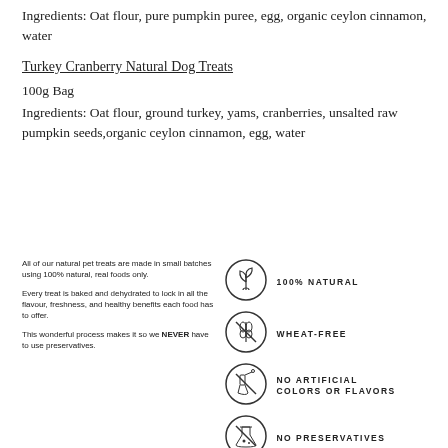Ingredients: Oat flour, pure pumpkin puree, egg, organic ceylon cinnamon, water
Turkey Cranberry Natural Dog Treats
100g Bag
Ingredients: Oat flour, ground turkey, yams, cranberries, unsalted raw pumpkin seeds,organic ceylon cinnamon, egg, water
All of our natural pet treats are made in small batches using 100% natural, real foods only.
Every treat is baked and dehydrated to lock in all the flavour, freshness, and healthy benefits each food has to offer.
This wonderful process makes it so we NEVER have to use preservatives.
[Figure (illustration): Circle icon with plant/sprout symbol]
100% NATURAL
[Figure (illustration): Circle icon with crossed wheat symbol]
WHEAT-FREE
[Figure (illustration): Circle icon with crossed chemistry/dropper symbol]
NO ARTIFICIAL COLORS OR FLAVORS
[Figure (illustration): Circle icon with crossed flask/preservatives symbol]
NO PRESERVATIVES